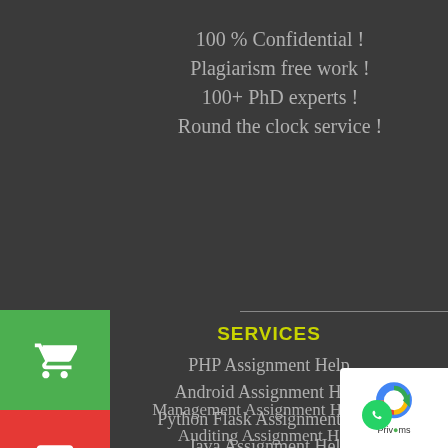100 % Confidential !
Plagiarism free work !
100+ PhD experts !
Round the clock service !
SERVICES
PHP Assignment Help
Android Assignment Help
Python Flask Assignment Help
Java Assignment Help
Management Assignment Help
Auditing Assignment Help
[Figure (logo): reCAPTCHA badge with Google logo]